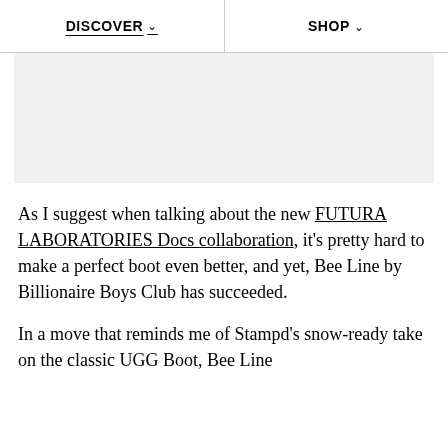DISCOVER ∨   SHOP ∨
[Figure (photo): Light gray rectangular image placeholder area]
As I suggest when talking about the new FUTURA LABORATORIES Docs collaboration, it's pretty hard to make a perfect boot even better, and yet, Bee Line by Billionaire Boys Club has succeeded.
In a move that reminds me of Stampd's snow-ready take on the classic UGG Boot, Bee Line